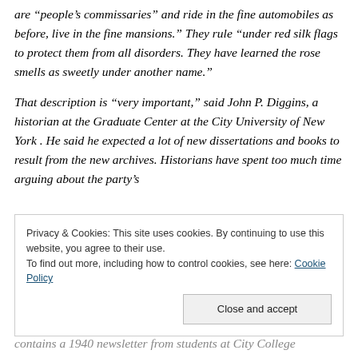are “people’s commissaries” and ride in the fine automobiles as before, live in the fine mansions.” They rule “under red silk flags to protect them from all disorders. They have learned the rose smells as sweetly under another name.”
That description is “very important,” said John P. Diggins, a historian at the Graduate Center at the City University of New York . He said he expected a lot of new dissertations and books to result from the new archives. Historians have spent too much time arguing about the party’s
Privacy & Cookies: This site uses cookies. By continuing to use this website, you agree to their use. To find out more, including how to control cookies, see here: Cookie Policy
Close and accept
contains a 1940 newsletter from students at City College